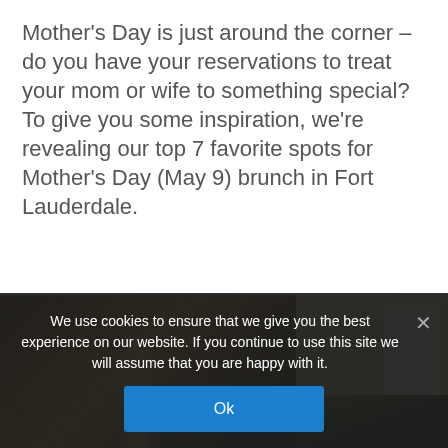Mother's Day is just around the corner – do you have your reservations to treat your mom or wife to something special? To give you some inspiration, we're revealing our top 7 favorite spots for Mother's Day (May 9) brunch in Fort Lauderdale.
[Figure (photo): Two side-by-side restaurant/food photos: left image shows interior of a restaurant with wooden beam ceiling and hanging lights/chandeliers; right image shows a food dish with salad and a white pitcher/jug along with grilled meat.]
We use cookies to ensure that we give you the best experience on our website. If you continue to use this site we will assume that you are happy with it.
Ok